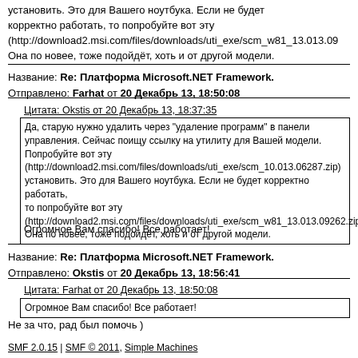установить. Это для Вашего ноутбука. Если не будет корректно работать, то попробуйте вот эту (http://download2.msi.com/files/downloads/uti_exe/scm_w81_13.013.09 Она по новее, тоже подойдёт, хоть и от другой модели.
Название: Re: Платформа Microsoft.NET Framework.
Отправлено: Farhat от 20 Декабрь 13, 18:50:08
Цитата: Okstis от 20 Декабрь 13, 18:37:35
Да, старую нужно удалить через "удаление программ" в панели управления. Сейчас поищу ссылку на утилиту для Вашей модели. Попробуйте вот эту (http://download2.msi.com/files/downloads/uti_exe/scm_10.013.06287.zip) установить. Это для Вашего ноутбука. Если не будет корректно работать, то попробуйте вот эту (http://download2.msi.com/files/downloads/uti_exe/scm_w81_13.013.09262.zip) Она по новее, тоже подойдёт, хоть и от другой модели.
Огромное Вам спасибо! Все работает!
Название: Re: Платформа Microsoft.NET Framework.
Отправлено: Okstis от 20 Декабрь 13, 18:56:41
Цитата: Farhat от 20 Декабрь 13, 18:50:08
Огромное Вам спасибо! Все работает!
Не за что, рад был помочь )
SMF 2.0.15 | SMF © 2011, Simple Machines